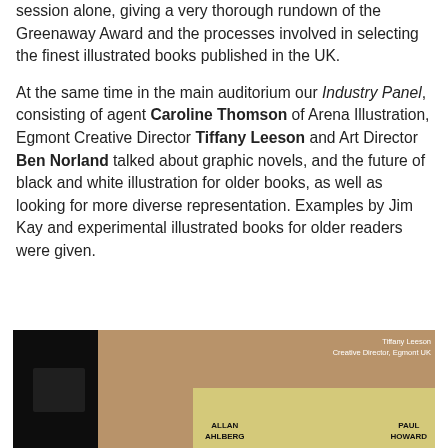session alone, giving a very thorough rundown of the Greenaway Award and the processes involved in selecting the finest illustrated books published in the UK.

At the same time in the main auditorium our Industry Panel, consisting of agent Caroline Thomson of Arena Illustration, Egmont Creative Director Tiffany Leeson and Art Director Ben Norland talked about graphic novels, and the future of black and white illustration for older books, as well as looking for more diverse representation. Examples by Jim Kay and experimental illustrated books for older readers were given.
[Figure (photo): A photograph showing a presentation screen displaying 'Tiffany Leeson, Creative Director, Egmont UK' with a book cover featuring 'Allan Ahlberg' and 'Paul Howard' visible at the bottom of the slide. The left side of the image is dark showing an audience or dark room.]